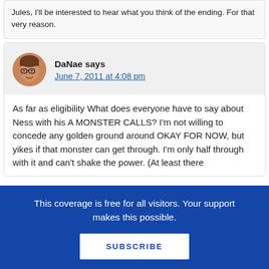Jules, I'll be interested to hear what you think of the ending. For that very reason.
DaNae says
June 7, 2011 at 4:08 pm
As far as eligibility What does everyone have to say about Ness with his A MONSTER CALLS? I'm not willing to concede any golden ground around OKAY FOR NOW, but yikes if that monster can get through. I'm only half through with it and can't shake the power. (At least there
This coverage is free for all visitors. Your support makes this possible.
SUBSCRIBE